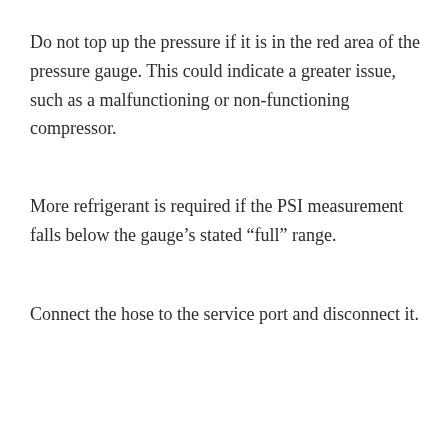Do not top up the pressure if it is in the red area of the pressure gauge. This could indicate a greater issue, such as a malfunctioning or non-functioning compressor.
More refrigerant is required if the PSI measurement falls below the gauge’s stated “full” range.
Connect the hose to the service port and disconnect it.